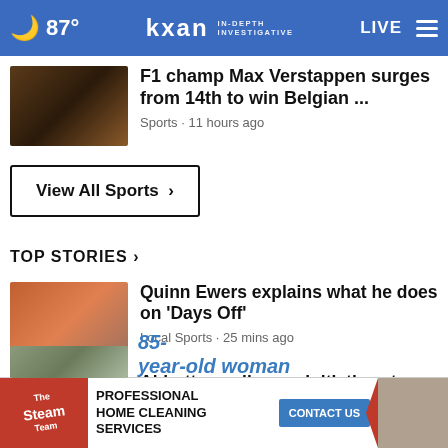🌙 87° | kxan IN-DEPTH INVESTIGATIVE | LIVE
[Figure (photo): Thumbnail of F1 racing scene]
F1 champ Max Verstappen surges from 14th to win Belgian ...
Sports • 11 hours ago
View All Sports ›
TOP STORIES ›
[Figure (photo): Thumbnail of Quinn Ewers]
Quinn Ewers explains what he does on 'Days Off'
Local Sports • 25 mins ago
[Figure (photo): Thumbnail of Abbott opioid crisis event]
Abbott unveils new initiatives to combat opioid crisis
[Figure (photo): Thumbnail partial - 85-year-old woman story]
85-year-old woman
[Figure (screenshot): Advertisement banner: The Steam Team - Professional Home Cleaning Services - Contact Us]